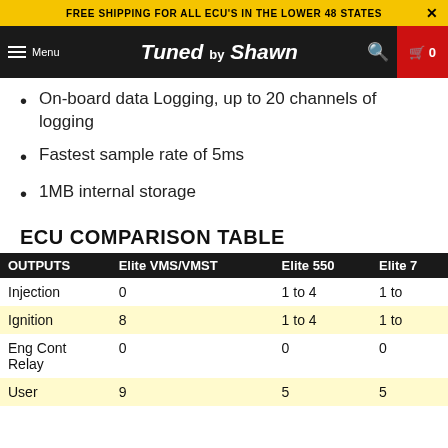FREE SHIPPING FOR ALL ECU'S IN THE LOWER 48 STATES
[Figure (logo): Tuned by Shawn navigation bar with menu, logo, search and cart icons]
On-board data Logging, up to 20 channels of logging
Fastest sample rate of 5ms
1MB internal storage
ECU COMPARISON TABLE
| OUTPUTS | Elite VMS/VMST | Elite 550 | Elite 7... |
| --- | --- | --- | --- |
| Injection | 0 | 1 to 4 | 1 to ... |
| Ignition | 8 | 1 to 4 | 1 to ... |
| Eng Cont Relay | 0 | 0 | 0 |
| User | 9 | 5 | 5 |